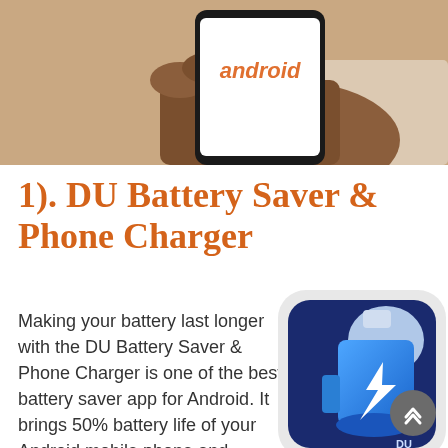[Figure (photo): A hand holding an Android smartphone displaying the Android logo on screen, photographed against a light background.]
1). DU Battery Saver & Phone Charger
Making your battery last longer with the DU Battery Saver & Phone Charger is one of the best battery saver app for Android. It brings 50% battery life of your Android mobile phone and Tablets, as well as It extend your battery life by the healthful battery charger stage features.
[Figure (logo): DU Battery Saver & Phone Charger app icon — a blue battery with a lightning bolt on a dark navy background with rounded corners.]